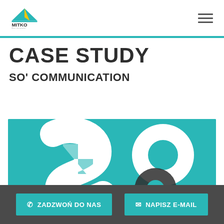[Figure (logo): MITKO for events logo with tent/peak icon in teal and yellow, company name in bold]
CASE STUDY
SO' COMMUNICATION
[Figure (illustration): SO' Communication brand image on teal/turquoise background featuring large stylized 'SO' letters made of interlocking white and light-blue curved/checkered shapes]
ZADZWOŃ DO NAS   NAPISZ E-MAIL